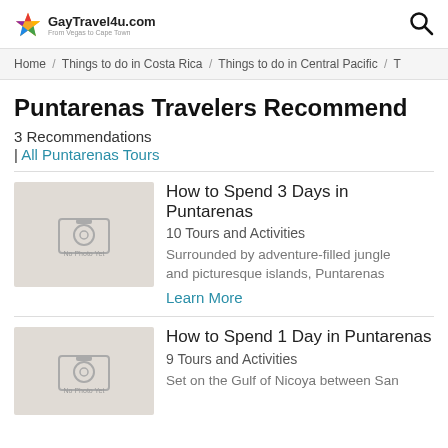GayTravel4u.com
Home / Things to do in Costa Rica / Things to do in Central Pacific / T
Puntarenas Travelers Recommend
3 Recommendations
| All Puntarenas Tours
How to Spend 3 Days in Puntarenas
10 Tours and Activities
Surrounded by adventure-filled jungle and picturesque islands, Puntarenas
Learn More
How to Spend 1 Day in Puntarenas
9 Tours and Activities
Set on the Gulf of Nicoya between San